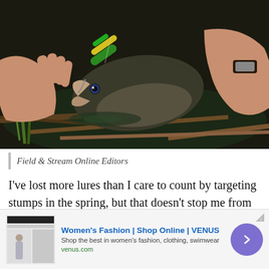[Figure (photo): A person's hands holding a large bass fish with a fishing lure in its mouth, photographed near water with sticks and vegetation visible]
Field & Stream Online Editors
I've lost more lures than I care to count by targeting stumps in the spring, but that doesn't stop me from fishing them every chance I get. Why? They're baitfish magnets, and hungry bass traveling to and from
[Figure (screenshot): Advertisement banner: Women's Fashion | Shop Online | VENUS. Shop the best in women's fashion, clothing, swimwear. venus.com]